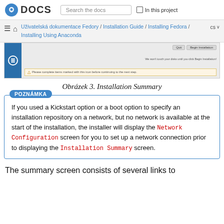Fedora DOCS | Search the docs | In this project
Uživatelská dokumentace Fedory / Installation Guide / Installing Fedora / Installing Using Anaconda | cs
[Figure (screenshot): Screenshot of Fedora Anaconda installer Installation Summary screen showing Quit and Begin Installation buttons and a warning message: Please complete items marked with this icon before continuing to the next step.]
Obrázek 3. Installation Summary
POZNÁMKA
If you used a Kickstart option or a boot option to specify an installation repository on a network, but no network is available at the start of the installation, the installer will display the Network Configuration screen for you to set up a network connection prior to displaying the Installation Summary screen.
The summary screen consists of several links to